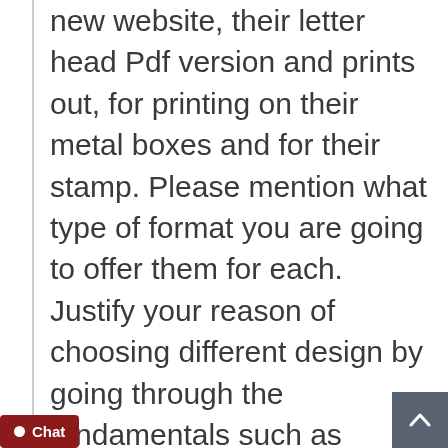new website, their letter head Pdf version and prints out, for printing on their metal boxes and for their stamp. Please mention what type of format you are going to offer them for each. Justify your reason of choosing different design by going through the fundamentals such as resolution, size, format, modes and other process fundamentals D2 Take the responsibility to show what steps you are to design a better relevant logo for them. It means
[Figure (screenshot): Chat button (dark red) at bottom left with white circle dot icon, and scroll-to-top button (dark grey) at bottom right with upward chevron arrow]